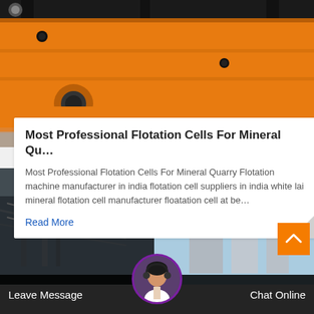[Figure (photo): Orange industrial flotation machine equipment, close-up view showing orange painted metal body with bolts and pipes, black metal frame on top]
Most Professional Flotation Cells For Mineral Qu…
Most Professional Flotation Cells For Mineral Quarry Flotation machine manufacturer in india flotation cell suppliers in india white lai mineral flotation cell manufacturer floatation cell at be…
Read More
[Figure (photo): Industrial facility with large silos, pipes and steel structures against a blue sky, dark industrial scene]
Leave Message
Chat Online